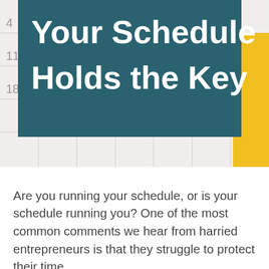[Figure (illustration): Header image with a calendar background, teal/dark green overlay box, yellow vertical stripe on right, and bold white text reading 'Your Schedule Holds the Key']
Your Schedule Holds the Key
Are you running your schedule, or is your schedule running you? One of the most common comments we hear from harried entrepreneurs is that they struggle to protect their time.
Oftentimes, this tussle to maintain control of their work week is what inspires an entrepreneur to explore hiring a virtual assistant in the first place. An assistant can act as a bouncer, swatting away those requests to hop